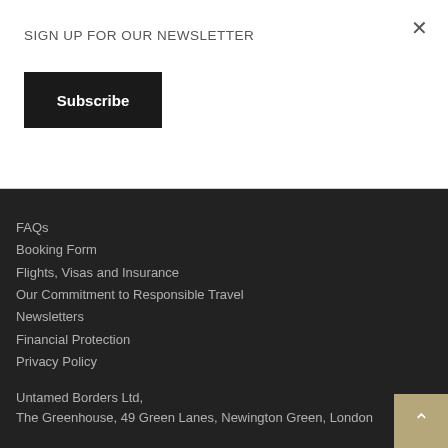SIGN UP FOR OUR NEWSLETTER
Subscribe
FAQs
Booking Form
Flights, Visas and Insurance
Our Commitment to Responsible Travel
Newsletters
Financial Protection
Privacy Policy
Terms and Conditions
Untamed Borders Ltd,
The Greenhouse, 49 Green Lanes, Newington Green, London